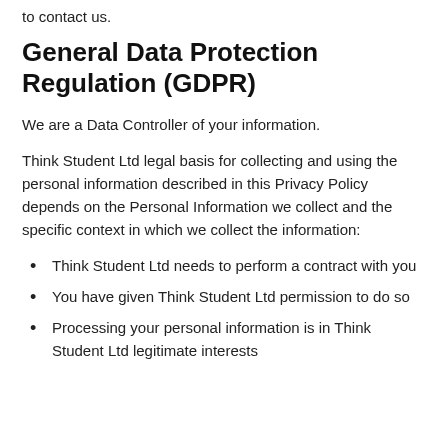to contact us.
General Data Protection Regulation (GDPR)
We are a Data Controller of your information.
Think Student Ltd legal basis for collecting and using the personal information described in this Privacy Policy depends on the Personal Information we collect and the specific context in which we collect the information:
Think Student Ltd needs to perform a contract with you
You have given Think Student Ltd permission to do so
Processing your personal information is in Think Student Ltd legitimate interests